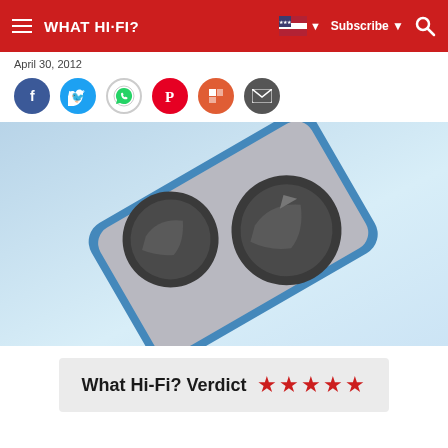WHAT HI-FI?
April 30, 2012
[Figure (infographic): Social sharing icons row: Facebook (blue), Twitter (light blue), WhatsApp (grey/white), Pinterest (red), Flipboard (orange-red), Email (dark grey)]
[Figure (photo): Close-up photo of wireless earbuds in their charging case, shown against a light blue background. The earbuds are grey/dark coloured and the case has a blue edge.]
What Hi-Fi? Verdict ★★★★★